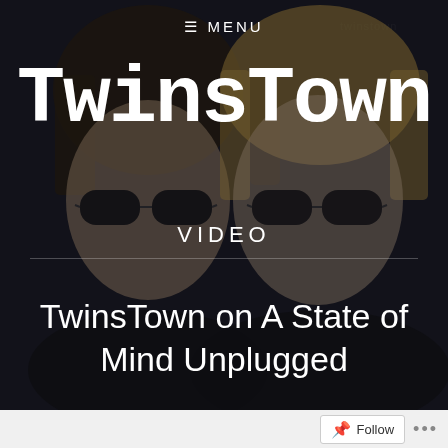[Figure (illustration): Dark background with two cartoon/illustrated characters side by side, both wearing sunglasses, on a dark navy/black background. Left character has darker hair, right character has lighter/blonde hair.]
≡ MENU
TwinsTown
VIDEO
TwinsTown on A State of Mind Unplugged
Follow •••